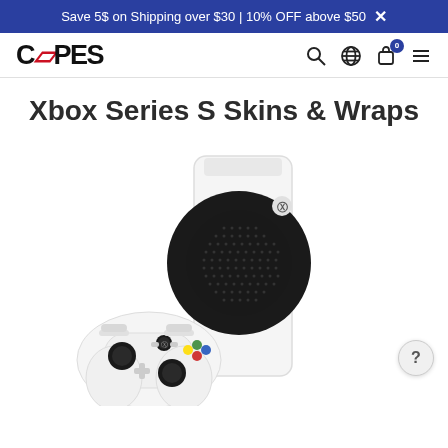Save 5$ on Shipping over $30 | 10% OFF above $50 ×
[Figure (logo): CAPES logo with red stylized arrow/lightning bolt replacing the letter A, plus navigation icons: search, globe, cart with badge 0, hamburger menu]
Xbox Series S Skins & Wraps
[Figure (photo): Xbox Series S white console standing vertically with large circular black mesh speaker grille and Xbox button logo, alongside a white Xbox wireless controller with colored ABXY buttons]